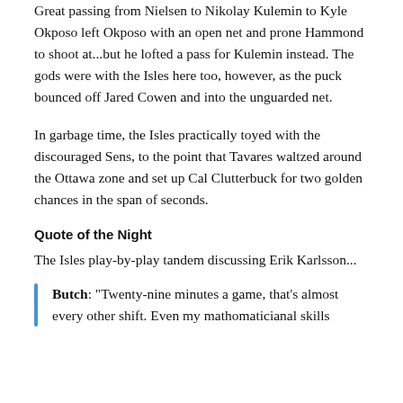Great passing from Nielsen to Nikolay Kulemin to Kyle Okposo left Okposo with an open net and prone Hammond to shoot at...but he lofted a pass for Kulemin instead. The gods were with the Isles here too, however, as the puck bounced off Jared Cowen and into the unguarded net.
In garbage time, the Isles practically toyed with the discouraged Sens, to the point that Tavares waltzed around the Ottawa zone and set up Cal Clutterbuck for two golden chances in the span of seconds.
Quote of the Night
The Isles play-by-play tandem discussing Erik Karlsson...
Butch: "Twenty-nine minutes a game, that's almost every other shift. Even my mathomaticianal skills...